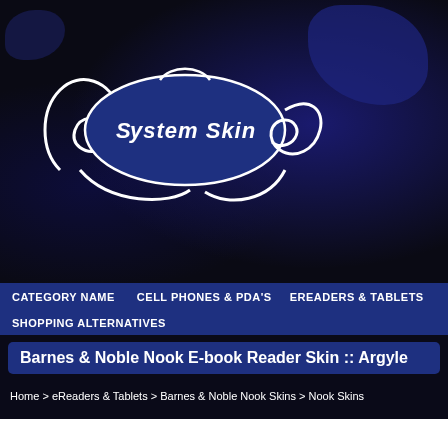[Figure (logo): System Skin logo — stylized text 'System Skin' inside a blue elliptical/controller-shaped badge with white outlines, on dark background with blue ink splatter]
CATEGORY NAME   CELL PHONES & PDA'S   EREADERS & TABLETS   SHOPPING ALTERNATIVES
Barnes & Noble Nook E-book Reader Skin :: Argyle
Home > eReaders & Tablets > Barnes & Noble Nook Skins > Nook Skins
[Figure (photo): Three Nook e-reader device mockups showing argyle pattern skins in green and grey colors. Left: large device with argyle screen protector. Center: medium device with full green argyle skin. Right: small paired devices with argyle skins and color swatches below.]